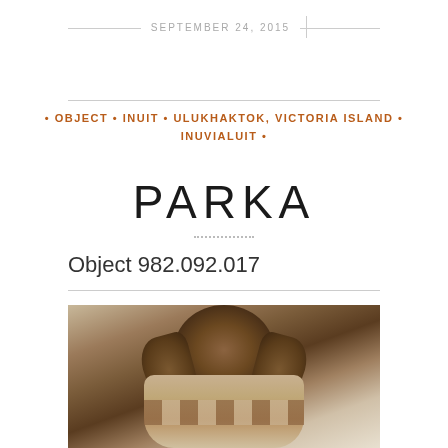SEPTEMBER 24, 2015
• OBJECT • INUIT • ULUKHAKTOK, VICTORIA ISLAND • INUVIALUIT •
PARKA
Object 982.092.017
[Figure (photo): Photo of a parka, an Inuit garment from Ulukhaktok, Victoria Island. The image shows the top portion of a fur-trimmed parka with brown and white fur hood and body visible against a light grey background.]